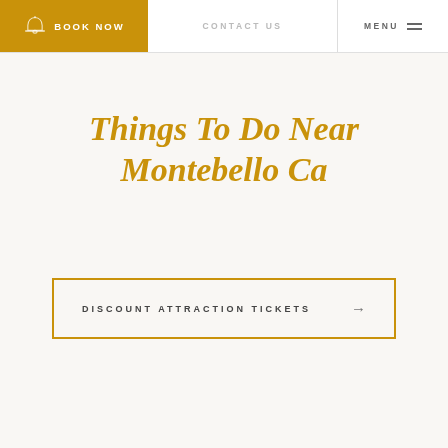BOOK NOW | CONTACT US | MENU
Things To Do Near Montebello Ca
DISCOUNT ATTRACTION TICKETS →